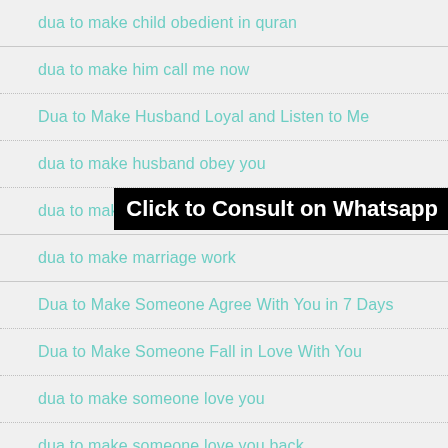dua to make child obedient in quran
dua to make him call me now
Dua to Make Husband Loyal and Listen to Me
dua to make husband obey you
dua to make man love you and have eyes on you
dua to make marriage work
Dua to Make Someone Agree With You in 7 Days
Dua to Make Someone Fall in Love With You
dua to make someone love you
dua to make someone love you back